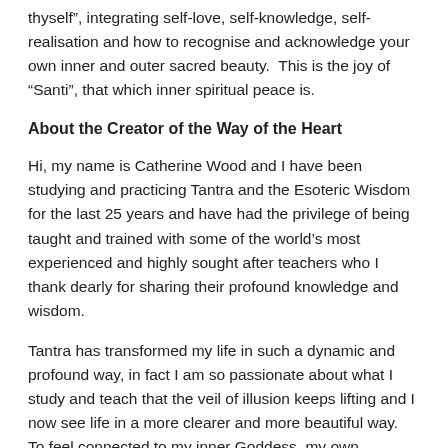thyself", integrating self-love, self-knowledge, self-realisation and how to recognise and acknowledge your own inner and outer sacred beauty.  This is the joy of “Santi”, that which inner spiritual peace is.
About the Creator of the Way of the Heart
Hi, my name is Catherine Wood and I have been studying and practicing Tantra and the Esoteric Wisdom for the last 25 years and have had the privilege of being taught and trained with some of the world’s most experienced and highly sought after teachers who I thank dearly for sharing their profound knowledge and wisdom.
Tantra has transformed my life in such a dynamic and profound way, in fact I am so passionate about what I study and teach that the veil of illusion keeps lifting and I now see life in a more clearer and more beautiful way.  To feel connected to my inner Goddess, my own femininity and my ability to love more deeply has enriched my life in ways I can’t even begin to describe.